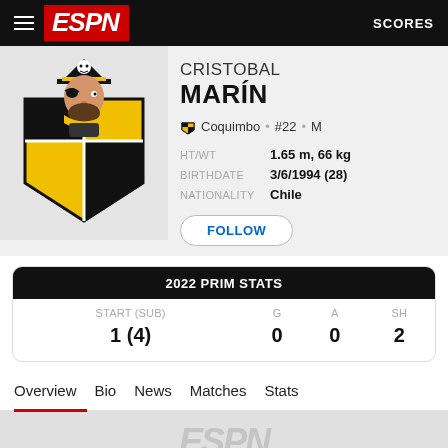ESPN  SCORES
CRISTOBAL MARÍN
Coquimbo • #22 • M
| HT/WT | BIRTHDATE | NATIONALITY |
| --- | --- | --- |
| 1.65 m, 66 kg | 3/6/1994 (28) | Chile |
FOLLOW
| 2022 PRIM STATS |
| --- |
| START (SUB) | G | A | SH |
| 1 (4) | 0 | 0 | 2 |
Overview  Bio  News  Matches  Stats